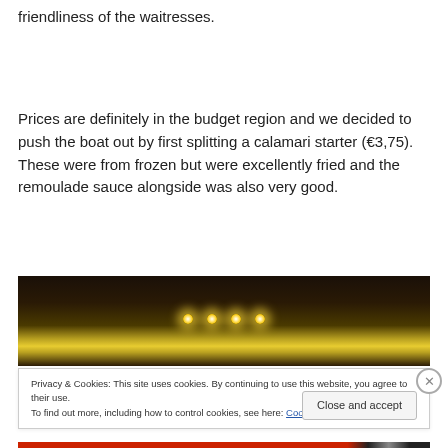friendliness of the waitresses.
Prices are definitely in the budget region and we decided to push the boat out by first splitting a calamari starter (€3,75). These were from frozen but were excellently fried and the remoulade sauce alongside was also very good.
[Figure (photo): Dark night scene with glowing yellow-orange lights in the center, likely a street or restaurant exterior at night.]
Privacy & Cookies: This site uses cookies. By continuing to use this website, you agree to their use.
To find out more, including how to control cookies, see here: Cookie Policy
Close and accept